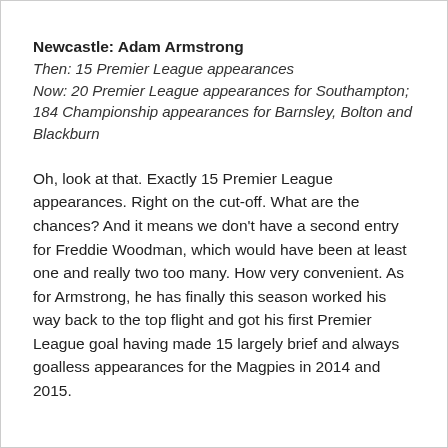Newcastle: Adam Armstrong
Then: 15 Premier League appearances
Now: 20 Premier League appearances for Southampton; 184 Championship appearances for Barnsley, Bolton and Blackburn
Oh, look at that. Exactly 15 Premier League appearances. Right on the cut-off. What are the chances? And it means we don't have a second entry for Freddie Woodman, which would have been at least one and really two too many. How very convenient. As for Armstrong, he has finally this season worked his way back to the top flight and got his first Premier League goal having made 15 largely brief and always goalless appearances for the Magpies in 2014 and 2015.